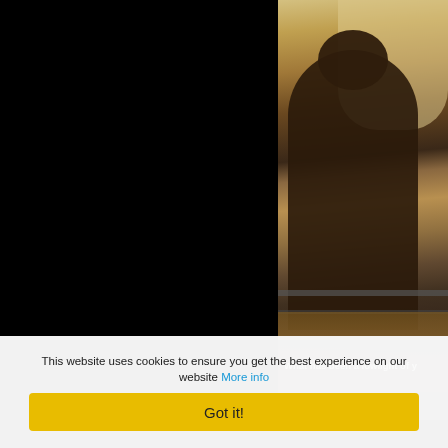[Figure (photo): Left half of image is black (dark/unlit area). Right portion shows a person from behind, sitting, illuminated by warm backlight with golden/amber tones, on what appears to be a boat or outdoor setting.]
What has been a lowlight of y
Without doubt Simon dying fro... everything I know about making
This website uses cookies to ensure you get the best experience on our website More info
Got it!